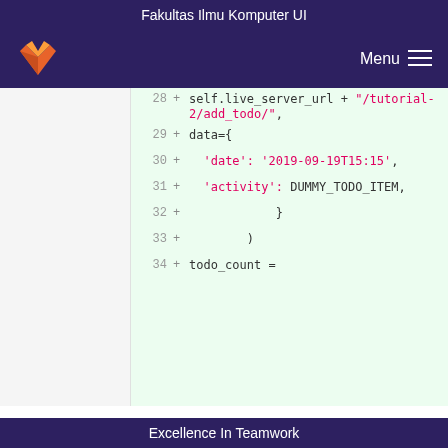Fakultas Ilmu Komputer UI
[Figure (screenshot): GitLab navigation bar with fox logo and Menu hamburger button on dark purple background]
Code diff view showing lines 28-34 with added lines in green background. Line 28: self.live_server_url + "/tutorial-2/add_todo/", Line 29: data={, Line 30: 'date': '2019-09-19T15:15', Line 31: 'activity': DUMMY_TODO_ITEM,', Line 32: }, Line 33: ), Line 34: todo_count =
Excellence In Teamwork